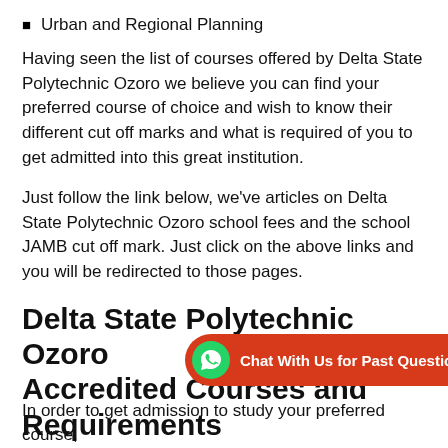Urban and Regional Planning
Having seen the list of courses offered by Delta State Polytechnic Ozoro we believe you can find your preferred course of choice and wish to know their different cut off marks and what is required of you to get admitted into this great institution.
Just follow the link below, we've articles on Delta State Polytechnic Ozoro school fees and the school JAMB cut off mark. Just click on the above links and you will be redirected to those pages.
Delta State Polytechnic Ozoro Accredited Courses and Requirements
[Figure (infographic): WhatsApp chat banner with green WhatsApp icon and red background reading 'Chat With Us for Past Questions']
In order to get admission to study your preferred course,